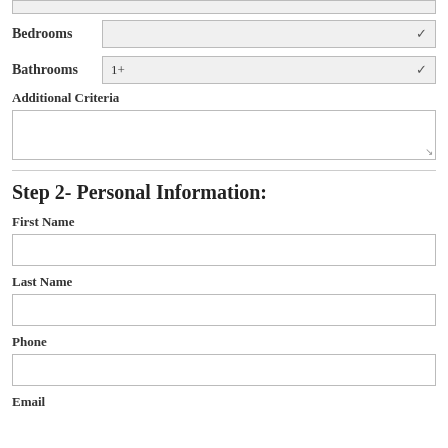Bedrooms
Bathrooms 1+
Additional Criteria
Step 2- Personal Information:
First Name
Last Name
Phone
Email